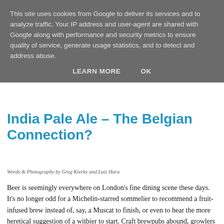This site uses cookies from Google to deliver its services and to analyze traffic. Your IP address and user-agent are shared with Google along with performance and security metrics to ensure quality of service, generate usage statistics, and to detect and address abuse.
LEARN MORE   OK
India Pale Ale – The Belgian Connection?
Words & Photography by Greg Klerkx and Luiz Hara
Beer is seemingly everywhere on London's fine dining scene these days. It's no longer odd for a Michelin-starred sommelier to recommend a fruit-infused brew instead of, say, a Muscat to finish, or even to hear the more heretical suggestion of a witbier to start. Craft brewpubs abound, growlers are the new must-have foodie toy, and everyone and their beer-making mother is trying to hop (no pun intended) onto the beery bandwagon.